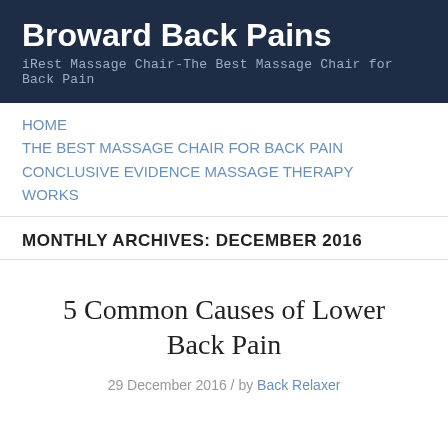Broward Back Pains
iRest Massage Chair-The Best Massage Chair for Back Pain
HOME
THE BEST MASSAGE CHAIR FOR BACK PAIN
CONCLUSIVE EVIDENCE MASSAGE THERAPY WORKS
MONTHLY ARCHIVES: DECEMBER 2016
5 Common Causes of Lower Back Pain
29 December 2016 / by Back Relaxer